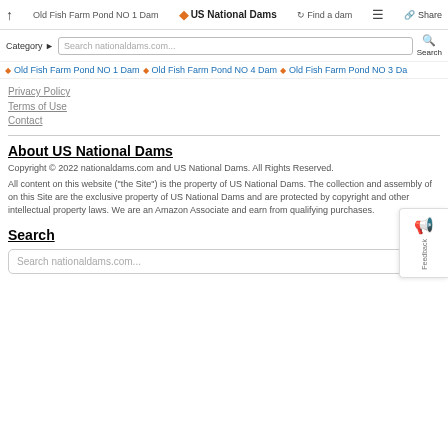Old Fish Farm Pond NO 1 Dam | US National Dams | Find a dam | Menu | Share
Category | Search nationaldams.com... | Search
Old Fish Farm Pond NO 1 Dam | Old Fish Farm Pond NO 4 Dam | Old Fish Farm Pond NO 3 Da...
Privacy Policy
Terms of Use
Contact
About US National Dams
Copyright © 2022 nationaldams.com and US National Dams. All Rights Reserved.
All content on this website ("the Site") is the property of US National Dams. The collection and assembly of on this Site are the exclusive property of US National Dams and are protected by copyright and other intellectual property laws. We are an Amazon Associate and earn from qualifying purchases.
Search
Search nationaldams.com...